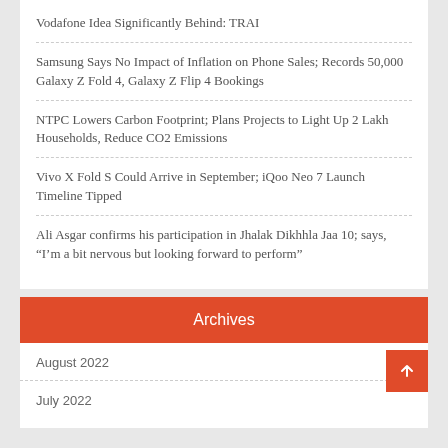Vodafone Idea Significantly Behind: TRAI
Samsung Says No Impact of Inflation on Phone Sales; Records 50,000 Galaxy Z Fold 4, Galaxy Z Flip 4 Bookings
NTPC Lowers Carbon Footprint; Plans Projects to Light Up 2 Lakh Households, Reduce CO2 Emissions
Vivo X Fold S Could Arrive in September; iQoo Neo 7 Launch Timeline Tipped
Ali Asgar confirms his participation in Jhalak Dikhhla Jaa 10; says, “I’m a bit nervous but looking forward to perform”
Archives
August 2022
July 2022